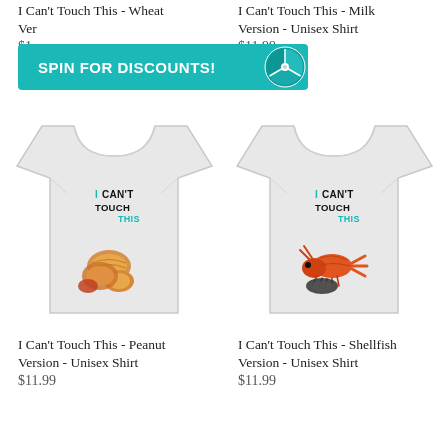I Can't Touch This - Wheat Version - Unisex Shirt
$1[partially obscured]
I Can't Touch This - Milk Version - Unisex Shirt
$11.99
[Figure (infographic): Teal banner with text SPIN FOR DISCOUNTS! and a spinning wheel icon on the right]
[Figure (illustration): White unisex t-shirt with peanut graphic and text I CAN'T TOUCH THIS]
[Figure (illustration): White unisex t-shirt with shellfish/shrimp graphic and text I CAN'T TOUCH THIS]
I Can't Touch This - Peanut Version - Unisex Shirt
$11.99
I Can't Touch This - Shellfish Version - Unisex Shirt
$11.99